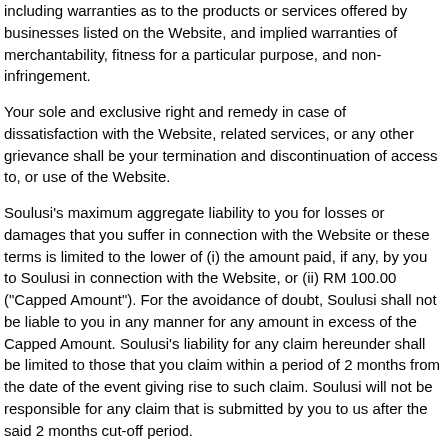including warranties as to the products or services offered by businesses listed on the Website, and implied warranties of merchantability, fitness for a particular purpose, and non-infringement.
Your sole and exclusive right and remedy in case of dissatisfaction with the Website, related services, or any other grievance shall be your termination and discontinuation of access to, or use of the Website.
Soulusi's maximum aggregate liability to you for losses or damages that you suffer in connection with the Website or these terms is limited to the lower of (i) the amount paid, if any, by you to Soulusi in connection with the Website, or (ii) RM 100.00 ("Capped Amount"). For the avoidance of doubt, Soulusi shall not be liable to you in any manner for any amount in excess of the Capped Amount. Soulusi's liability for any claim hereunder shall be limited to those that you claim within a period of 2 months from the date of the event giving rise to such claim. Soulusi will not be responsible for any claim that is submitted by you to us after the said 2 months cut-off period.
Soulusi disclaim liability for any (i) indirect, special, incidental, punitive, exemplary, reliance, or consequential damages, (ii) loss of